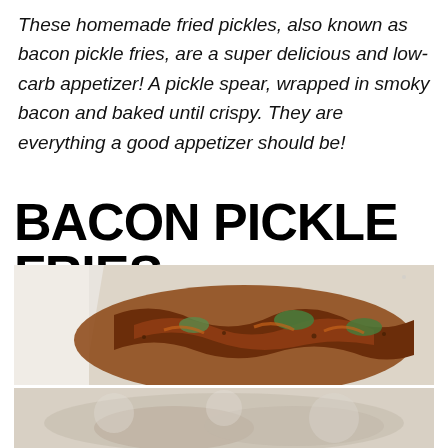These homemade fried pickles, also known as bacon pickle fries, are a super delicious and low-carb appetizer! A pickle spear, wrapped in smoky bacon and baked until crispy. They are everything a good appetizer should be!
BACON PICKLE FRIES
[Figure (photo): Photo of bacon-wrapped pickle fries in a white baking dish, showing crispy browned bacon wrapped around pickle spears with visible green pickle color]
[Figure (photo): Partial photo below, lighter colored image likely showing another view of the dish or related food item]